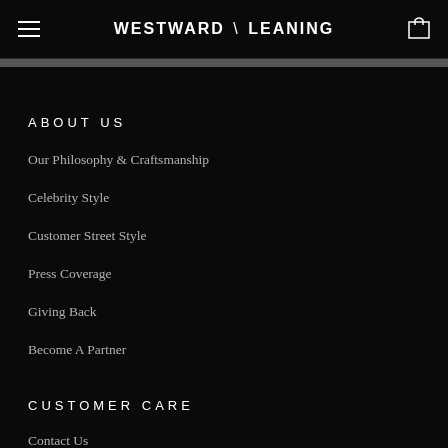WESTWARD \ LEANING
ABOUT US
Our Philosophy & Craftsmanship
Celebrity Style
Customer Street Style
Press Coverage
Giving Back
Become A Partner
CUSTOMER CARE
Contact Us